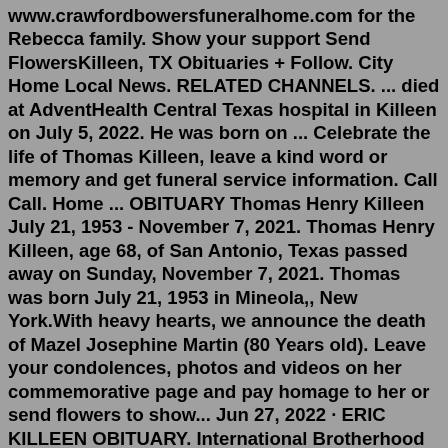www.crawfordbowersfuneralhome.com for the Rebecca family. Show your support Send FlowersKilleen, TX Obituaries + Follow. City Home Local News. RELATED CHANNELS. ... died at AdventHealth Central Texas hospital in Killeen on July 5, 2022. He was born on ... Celebrate the life of Thomas Killeen, leave a kind word or memory and get funeral service information. Call Call. Home ... OBITUARY Thomas Henry Killeen July 21, 1953 - November 7, 2021. Thomas Henry Killeen, age 68, of San Antonio, Texas passed away on Sunday, November 7, 2021. Thomas was born July 21, 1953 in Mineola,, New York.With heavy hearts, we announce the death of Mazel Josephine Martin (80 Years old). Leave your condolences, photos and videos on her commemorative page and pay homage to her or send flowers to show... Jun 27, 2022 · ERIC KILLEEN OBITUARY. International Brotherhood of Electrical Workers, Local Union #130. The Officers and Members of this local union are hereby requested to attend the Services of Sgt. Eric J. Killeen, Friday, July